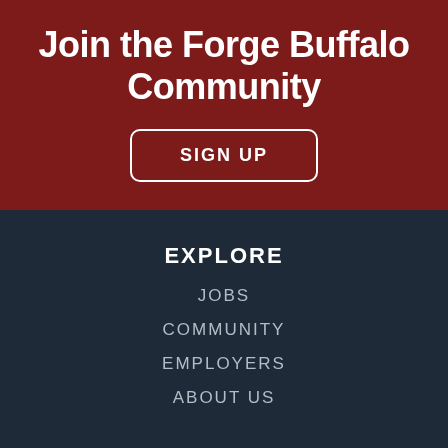Join the Forge Buffalo Community
SIGN UP
EXPLORE
JOBS
COMMUNITY
EMPLOYERS
ABOUT US